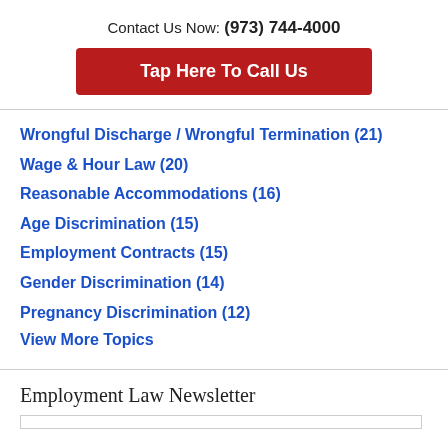Contact Us Now: (973) 744-4000
Tap Here To Call Us
Wrongful Discharge / Wrongful Termination (21)
Wage & Hour Law (20)
Reasonable Accommodations (16)
Age Discrimination (15)
Employment Contracts (15)
Gender Discrimination (14)
Pregnancy Discrimination (12)
View More Topics
Employment Law Newsletter